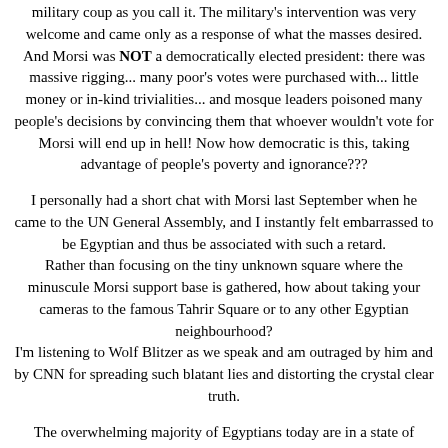military coup as you call it. The military's intervention was very welcome and came only as a response of what the masses desired.
And Morsi was NOT a democratically elected president: there was massive rigging... many poor's votes were purchased with... little money or in-kind trivialities... and mosque leaders poisoned many people's decisions by convincing them that whoever wouldn't vote for Morsi will end up in hell! Now how democratic is this, taking advantage of people's poverty and ignorance???
I personally had a short chat with Morsi last September when he came to the UN General Assembly, and I instantly felt embarrassed to be Egyptian and thus be associated with such a retard.
Rather than focusing on the tiny unknown square where the minuscule Morsi support base is gathered, how about taking your cameras to the famous Tahrir Square or to any other Egyptian neighbourhood?
I'm listening to Wolf Blitzer as we speak and am outraged by him and by CNN for spreading such blatant lies and distorting the crystal clear truth.
The overwhelming majority of Egyptians today are in a state of euphoria because a dictator was ousted: a dictator who in